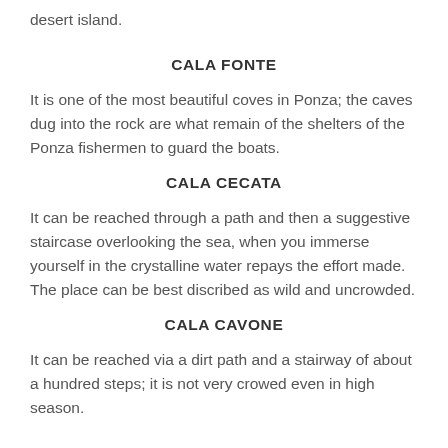desert island.
CALA FONTE
It is one of the most beautiful coves in Ponza; the caves dug into the rock are what remain of the shelters of the Ponza fishermen to guard the boats.
CALA CECATA
It can be reached through a path and then a suggestive staircase overlooking the sea, when you immerse yourself in the crystalline water repays the effort made. The place can be best discribed as wild and uncrowded.
CALA CAVONE
It can be reached via a dirt path and a stairway of about a hundred steps; it is not very crowed even in high season.